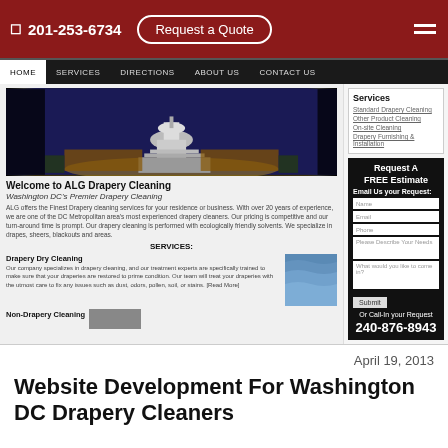201-253-6734   Request a Quote
[Figure (screenshot): Screenshot of ALG Drapery Cleaning website showing the US Capitol building at night with dark drapes on the sides, navigation bar with Home, Services, Directions, About Us, Contact Us, a Services sidebar with Standard Drapery Cleaning, Other Product Cleaning, On-site Cleaning, Drapery Furnishing & Installation, a Request A FREE Estimate form with Email, Name, Phone, Please Describe Your Needs, What would you like to come in? fields, Submit button, and call number 240-876-8943]
April 19, 2013
Website Development For Washington DC Drapery Cleaners